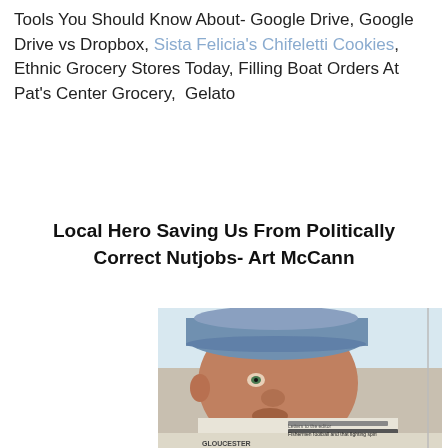Tools You Should Know About- Google Drive, Google Drive vs Dropbox, Sista Felicia's Chifeletti Cookies, Ethnic Grocery Stores Today, Filling Boat Orders At Pat's Center Grocery,  Gelato
Local Hero Saving Us From Politically Correct Nutjobs- Art McCann
[Figure (photo): Close-up photo of an older man wearing a blue baseball cap, holding up a newspaper. The newspaper shows headlines including 'Letters to the editor', 'Fishermen football and that fighting spirit', and partial text 'GLOUCESTER'.]